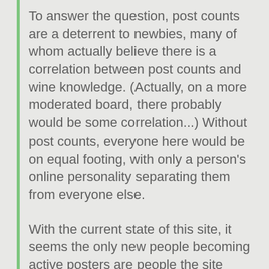To answer the question, post counts are a deterrent to newbies, many of whom actually believe there is a correlation between post counts and wine knowledge. (Actually, on a more moderated board, there probably would be some correlation...) Without post counts, everyone here would be on equal footing, with only a person's online personality separating them from everyone else.
With the current state of this site, it seems the only new people becoming active posters are people the site doesn't want or need. If one really wants to see this site grow in a positive fashion, one should make the site